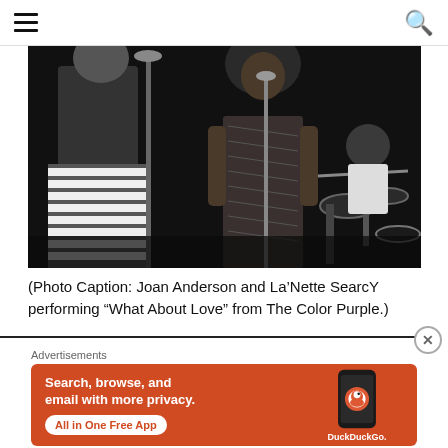Navigation menu and search icon
[Figure (photo): Black and white photo of two women on stage. On the left, a woman in a sleeveless top and striped skirt stands near a microphone stand. In the center, a woman with natural hair in a patterned long dress stands at a microphone. In the background right, a drummer is visible behind drum equipment.]
(Photo Caption: Joan Anderson and La’Nette SearcY performing “What About Love” from The Color Purple.)
Advertisements
[Figure (screenshot): DuckDuckGo advertisement banner with orange background. Text reads: Search, browse, and email with more privacy. All in One Free App. Shows a phone with the DuckDuckGo logo and branding.]